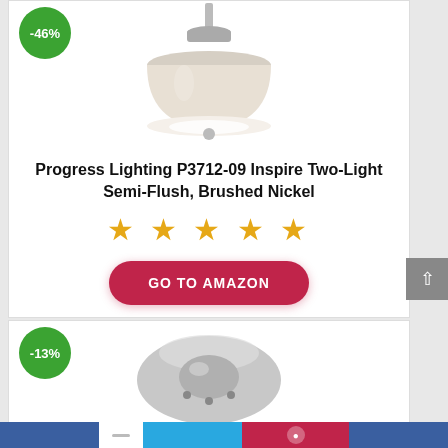[Figure (photo): Ceiling light fixture - Progress Lighting semi-flush mount with beige drum shade and brushed nickel finish, shown with -46% discount badge]
Progress Lighting P3712-09 Inspire Two-Light Semi-Flush, Brushed Nickel
[Figure (infographic): 5 orange stars rating]
GO TO AMAZON
[Figure (photo): Brushed nickel ceiling mount canopy/medallion with -13% discount badge]